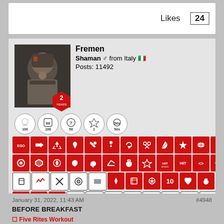Likes  24
[Figure (other): User profile card for forum member 'Fremen': avatar image of armored warrior character, hexagonal 2-year badge, username Fremen, rank Shaman (male symbol) from Italy (flag emoji), Posts: 11492, trophy icons row, large grid of red achievement badge icons (4 rows red, 1 row mixed red/outline)]
January 31, 2022, 11:43 AM
#4948
BEFORE BREAKFAST
🔲 Five Rites Workout
🔲 Wu Qin Xi - (instructional video)
🔲 First Thing Water Challenge
○○○
BEFORE LUNCH